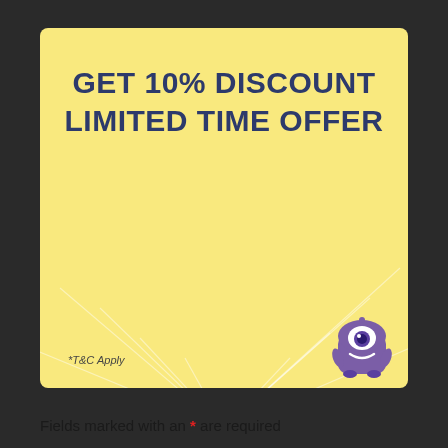[Figure (infographic): Yellow promotional banner with text 'GET 10% DISCOUNT LIMITED TIME OFFER' in dark navy bold uppercase font, radiating light ray lines, a purple one-eyed monster mascot in the bottom right, and '*T&C Apply' text in the bottom left.]
*T&C Apply
Fields marked with an * are required